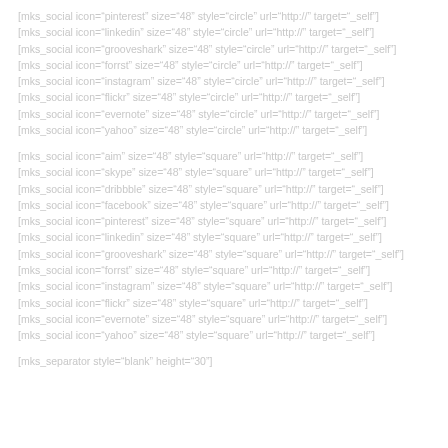[mks_social icon="pinterest" size="48" style="circle" url="http://" target="_self"]
[mks_social icon="linkedin" size="48" style="circle" url="http://" target="_self"]
[mks_social icon="grooveshark" size="48" style="circle" url="http://" target="_self"]
[mks_social icon="forrst" size="48" style="circle" url="http://" target="_self"]
[mks_social icon="instagram" size="48" style="circle" url="http://" target="_self"]
[mks_social icon="flickr" size="48" style="circle" url="http://" target="_self"]
[mks_social icon="evernote" size="48" style="circle" url="http://" target="_self"]
[mks_social icon="yahoo" size="48" style="circle" url="http://" target="_self"]
[mks_social icon="aim" size="48" style="square" url="http://" target="_self"]
[mks_social icon="skype" size="48" style="square" url="http://" target="_self"]
[mks_social icon="dribbble" size="48" style="square" url="http://" target="_self"]
[mks_social icon="facebook" size="48" style="square" url="http://" target="_self"]
[mks_social icon="pinterest" size="48" style="square" url="http://" target="_self"]
[mks_social icon="linkedin" size="48" style="square" url="http://" target="_self"]
[mks_social icon="grooveshark" size="48" style="square" url="http://" target="_self"]
[mks_social icon="forrst" size="48" style="square" url="http://" target="_self"]
[mks_social icon="instagram" size="48" style="square" url="http://" target="_self"]
[mks_social icon="flickr" size="48" style="square" url="http://" target="_self"]
[mks_social icon="evernote" size="48" style="square" url="http://" target="_self"]
[mks_social icon="yahoo" size="48" style="square" url="http://" target="_self"]
[mks_separator style="blank" height="30"]